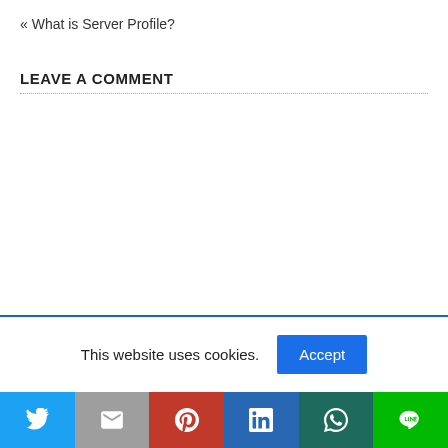« What is Server Profile?
LEAVE A COMMENT
This website uses cookies.
Accept